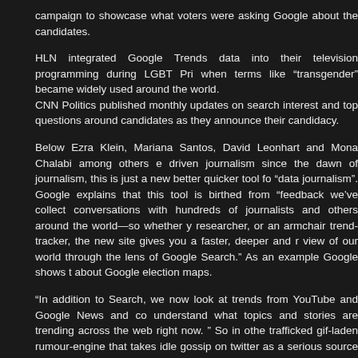campaign to showcase what voters were asking Google about the candidates.
HLN integrated Google Trends data into their television programming during LGBT Pri when terms like “transgender” became widely used around the world.
CNN Politics published monthly updates on search interest and top questions around candidates as they announce their candidacy.
Below Ezra Klein, Mariana Santos, David Leonhart and Mona Chalabi among others e driven journalism since the dawn of journalism, this is just a new better quicker tool fo “data journalism”. Google explains that this tool is birthed from “feedback we’ve collect conversations with hundreds of journalists and others around the world—so whether y researcher, or an armchair trend-tracker, the new site gives you a faster, deeper and r view of our world through the lens of Google Search.” As an example Google shows t about Google election maps.
“In addition to Search, we now look at trends from YouTube and Google News and co understand what topics and stories are trending across the web right now. ” So in othe trafficked gif-laden rumour-engine that takes idle gossip on twitter as a serious source Churnalism is now but a tiny step away from programmatic journalism, because why b writers at this point? Just throw some animated gifs in each article and call it a day.
I can’t wait to see the first successful trolling that then is covered in earnest by all Gu and friends because it trended in searches and on youtube. It’s only a matter of time.
No Comments